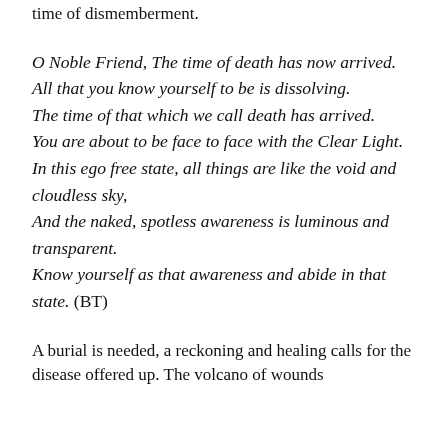time of dismemberment.
O Noble Friend, The time of death has now arrived. All that you know yourself to be is dissolving. The time of that which we call death has arrived. You are about to be face to face with the Clear Light. In this ego free state, all things are like the void and cloudless sky, And the naked, spotless awareness is luminous and transparent. Know yourself as that awareness and abide in that state. (BT)
A burial is needed, a reckoning and healing calls for the disease offered up. The volcano of wounds